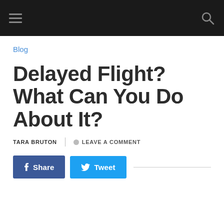Navigation bar with hamburger menu and search icon
Blog
Delayed Flight? What Can You Do About It?
TARA BRUTON | LEAVE A COMMENT
[Figure (other): Share and Tweet social media buttons with a horizontal divider line]